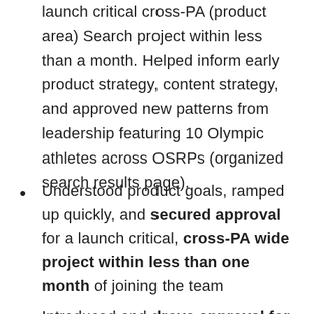launch critical cross-PA (product area) Search project within less than a month. Helped inform early product strategy, content strategy, and approved new patterns from leadership featuring 10 Olympic athletes across OSRPs (organized search results page).
Understood product goals, ramped up quickly, and secured approval for a launch critical, cross-PA wide project within less than one month of joining the team
Introduced and drove approval for two